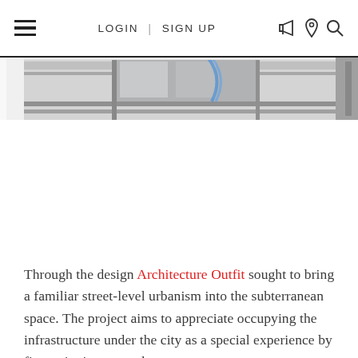LOGIN | SIGN UP
[Figure (photo): A close-up photograph of industrial or mechanical infrastructure — metal rails, cables, and structural elements visible against a bright background.]
Through the design Architecture Outfit sought to bring a familiar street-level urbanism into the subterranean space. The project aims to appreciate occupying the infrastructure under the city as a special experience by first stripping away the